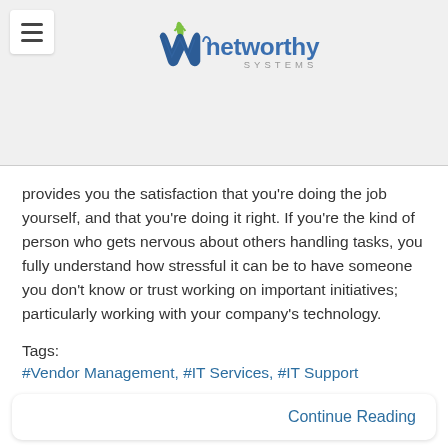[Figure (logo): Networthy Systems logo with stylized 'nw' icon in blue and green, text 'networthy SYSTEMS']
Get SUPPORT
provides you the satisfaction that you're doing the job yourself, and that you're doing it right. If you're the kind of person who gets nervous about others handling tasks, you fully understand how stressful it can be to have someone you don't know or trust working on important initiatives; particularly working with your company's technology.
Tags:
#Vendor Management, #IT Services, #IT Support
Continue Reading